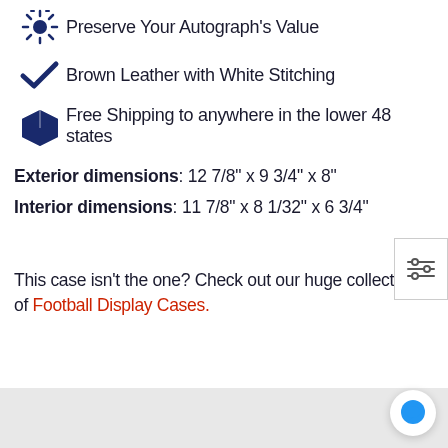Preserve Your Autograph's Value
Brown Leather with White Stitching
Free Shipping to anywhere in the lower 48 states
Exterior dimensions: 12 7/8" x 9 3/4" x 8"
Interior dimensions: 11 7/8" x 8 1/32" x 6 3/4"
This case isn't the one? Check out our huge collection of Football Display Cases.